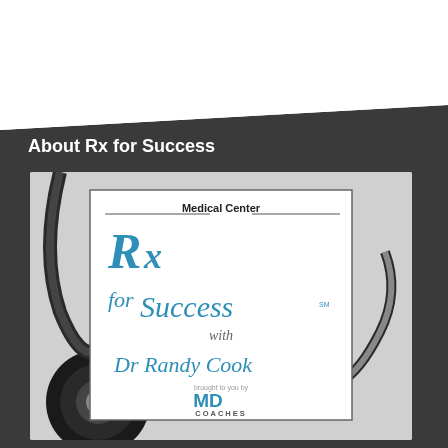About Rx for Success
[Figure (photo): Podcast cover art for 'Rx for Success with Dr Randy Cook' showing a prescription pad with the show's logo on a white background, with a stethoscope visible. Brought to you by MD Coaches.]